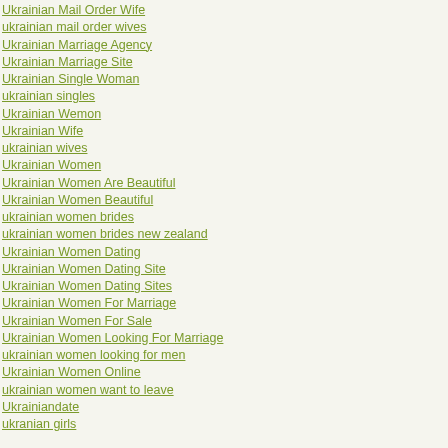Ukrainian Mail Order Wife
ukrainian mail order wives
Ukrainian Marriage Agency
Ukrainian Marriage Site
Ukrainian Single Woman
ukrainian singles
Ukrainian Wemon
Ukrainian Wife
ukrainian wives
Ukrainian Women
Ukrainian Women Are Beautiful
Ukrainian Women Beautiful
ukrainian women brides
ukrainian women brides new zealand
Ukrainian Women Dating
Ukrainian Women Dating Site
Ukrainian Women Dating Sites
Ukrainian Women For Marriage
Ukrainian Women For Sale
Ukrainian Women Looking For Marriage
ukrainian women looking for men
Ukrainian Women Online
ukrainian women want to leave
Ukrainiandate
ukranian girls